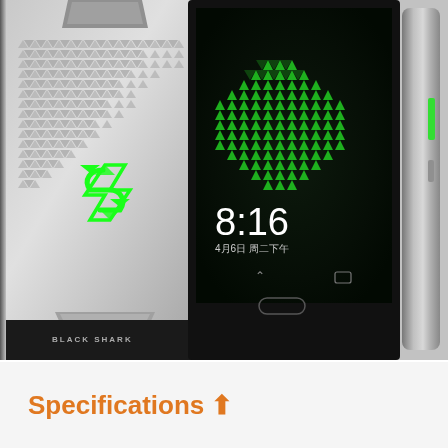[Figure (photo): Three views of the Black Shark gaming smartphone: back panel showing silver/grey body with triangular dot pattern and green Black Shark logo, front view showing dark screen with green triangle dot pattern wallpaper and clock showing 8:16, and side profile view showing slim grey metal frame with green hardware button.]
Specifications ↑